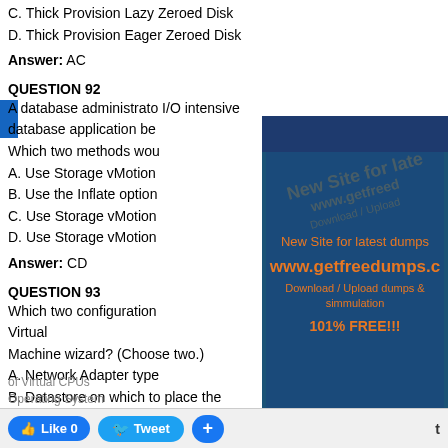C. Thick Provision Lazy Zeroed Disk
D. Thick Provision Eager Zeroed Disk
Answer: AC
QUESTION 92
A database administrator I/O intensive database application be Which two methods wou
A. Use Storage vMotion
B. Use the Inflate option
C. Use Storage vMotion
D. Use Storage vMotion
Answer: CD
QUESTION 93
Which two configuration Virtual Machine wizard? (Choose two.)
A. Network Adapter type
B. Datastore on which to place the virtual machine disks
[Figure (infographic): Advertisement overlay for www.getfreedumps.c with text: New Site for latest dumps, www.getfreedumps.c, Download / Upload dumps & simmulation, 101% FREE!!!]
Like 0  Tweet  +  t